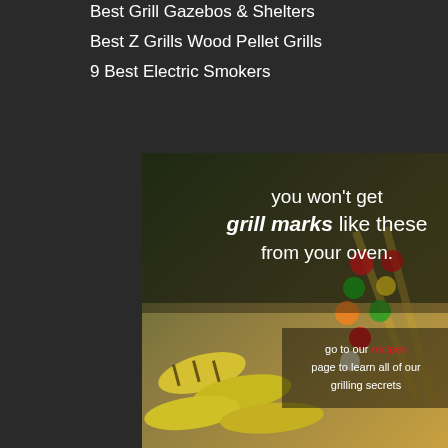Best Grill Gazebos & Shelters
Best Z Grills Wood Pellet Grills
9 Best Electric Smokers
[Figure (photo): Advertisement photo of grilled corn and vegetable skewers on a grill with text overlays: 'you won't get grill marks like these from your oven.' and 'go to our recipes page to learn all of our grilling secrets']